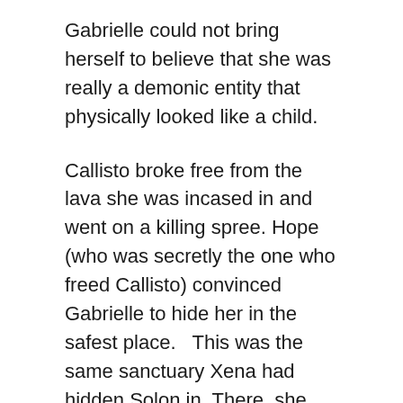Gabrielle could not bring herself to believe that she was really a demonic entity that physically looked like a child.
Callisto broke free from the lava she was incased in and went on a killing spree. Hope (who was secretly the one who freed Callisto) convinced Gabrielle to hide her in the safest place.   This was the same sanctuary Xena had hidden Solon in. There, she killed him.
Gabrielle then poisoned Hope, killing her. Xena made it clear she never wanted to speak to Gabrielle again as she was